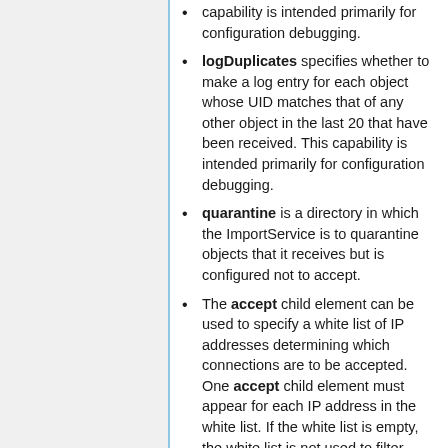capability is intended primarily for configuration debugging.
logDuplicates specifies whether to make a log entry for each object whose UID matches that of any other object in the last 20 that have been received. This capability is intended primarily for configuration debugging.
quarantine is a directory in which the ImportService is to quarantine objects that it receives but is configured not to accept.
The accept child element can be used to specify a white list of IP addresses determining which connections are to be accepted. One accept child element must appear for each IP address in the white list. If the white list is empty, the white list is not used to filter connections.